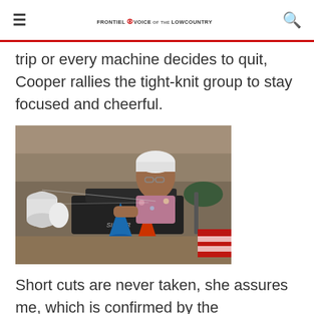≡  FRONTIEL VOICE of the LOWCOUNTRY  🔍
trip or every machine decides to quit, Cooper rallies the tight-knit group to stay focused and cheerful.
[Figure (photo): A factory worker wearing a white cap and glasses sewing at a Singer sewing machine, with large spools of white thread, blue and orange thread cones visible on the worktable.]
Short cuts are never taken, she assures me, which is confirmed by the handwritten notes of appreciation that hang from the workplace bulletin